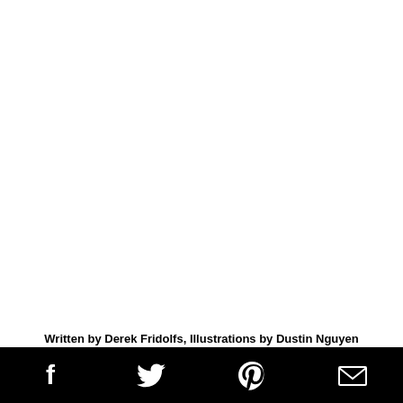Written by Derek Fridolfs, Illustrations by Dustin Nguyen
Social share icons: Facebook, Twitter, Pinterest, Email